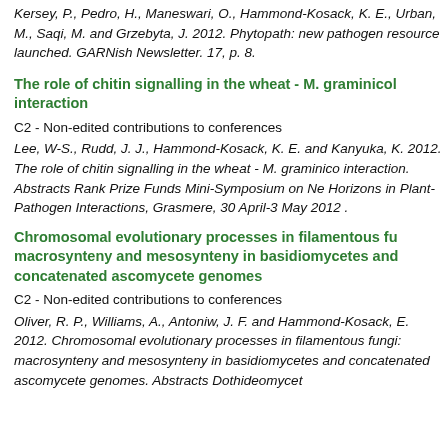Kersey, P., Pedro, H., Maneswari, O., Hammond-Kosack, K. E., Urban, M., Saqi, M. and Grzebyta, J. 2012. Phytopath: new pathogen resource launched. GARNish Newsletter. 17, p. 8.
The role of chitin signalling in the wheat - M. graminicola interaction
C2 - Non-edited contributions to conferences
Lee, W-S., Rudd, J. J., Hammond-Kosack, K. E. and Kanyuka, K. 2012. The role of chitin signalling in the wheat - M. graminicola interaction. Abstracts Rank Prize Funds Mini-Symposium on New Horizons in Plant-Pathogen Interactions, Grasmere, 30 April-3 May 2012 .
Chromosomal evolutionary processes in filamentous fungi: macrosynteny and mesosynteny in basidiomycetes and concatenated ascomycete genomes
C2 - Non-edited contributions to conferences
Oliver, R. P., Williams, A., Antoniw, J. F. and Hammond-Kosack, E. 2012. Chromosomal evolutionary processes in filamentous fungi: macrosynteny and mesosynteny in basidiomycetes and concatenated ascomycete genomes. Abstracts Dothideomycetes...